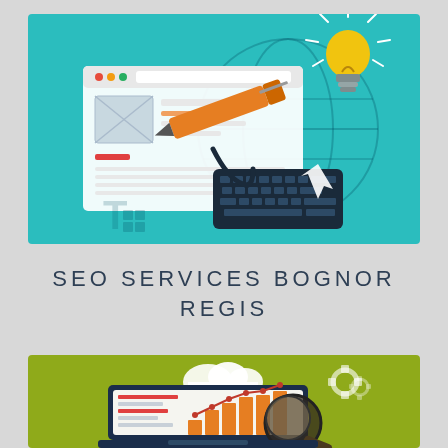[Figure (illustration): Flat design illustration on teal background showing a web browser window with a pen/marker tool, a keyboard, a lightbulb with rays, a globe outline, a cursor arrow, and placeholder image box — representing web design and digital marketing.]
SEO SERVICES BOGNOR REGIS
[Figure (illustration): Flat design illustration on olive/yellow-green background showing a laptop with analytics bar charts and a line graph, a magnifying glass, clouds, and gear icons — representing SEO analytics and data services.]